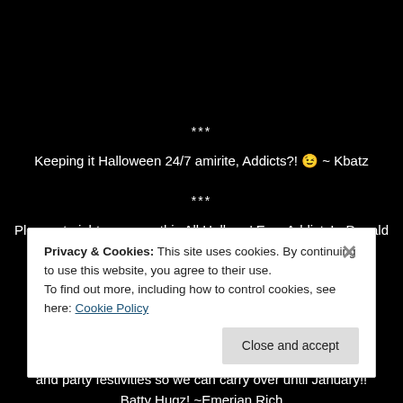***
Keeping it Halloween 24/7 amirite, Addicts?! 😉 ~ Kbatz
***
Pleasant nightmares on this All Hallows' Eve, Addicts! ~Donald Pitsiladis
***
Happy Halloween my Addicts!!! I shall miss you so much! Don't forget to send me pictures of your great Halloween outfits and party festivities so we can carry over until January!! Batty Hugz! ~Emerian Rich
Privacy & Cookies: This site uses cookies. By continuing to use this website, you agree to their use.
To find out more, including how to control cookies, see here: Cookie Policy
Close and accept